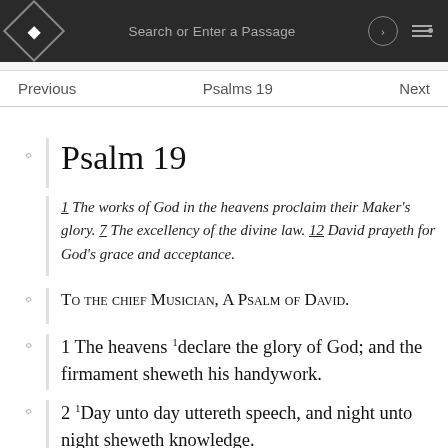Search or Enter a Passage
Previous   Psalms 19   Next
Psalm 19
1 The works of God in the heavens proclaim their Maker's glory. 7 The excellency of the divine law. 12 David prayeth for God's grace and acceptance.
To the chief Musician, A Psalm of David.
1 The heavens declare the glory of God; and the firmament sheweth his handywork.
2 Day unto day uttereth speech, and night unto night sheweth knowledge.
3 there is no speech, nor language, where their